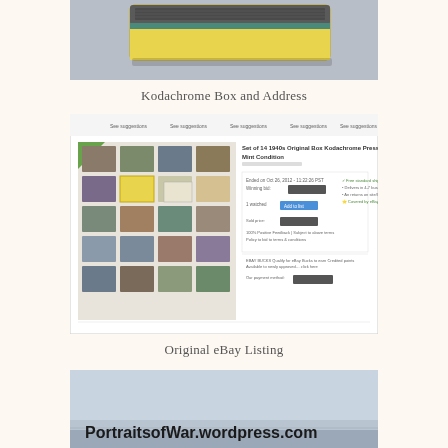[Figure (photo): Photo of a Kodachrome film box with yellow and grey coloring on a light blue-grey background, partially cropped at the top of the image]
Kodachrome Box and Address
[Figure (screenshot): Screenshot of an original eBay listing for 'Set of 14 1940s Original Box Kodachrome Pressboard Girls Planes Mint Condition', showing photo slides arranged in a grid on the left and listing details on the right]
Original eBay Listing
[Figure (photo): Partial photo showing a sky background with bold text overlay reading 'PortraitsofWar.wordpress.com']